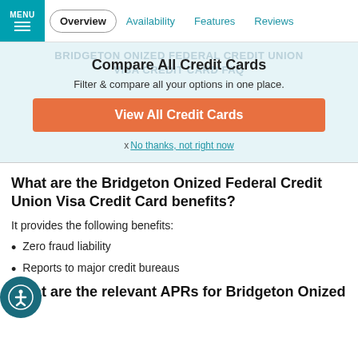MENU | Overview | Availability | Features | Reviews
Compare All Credit Cards
Filter & compare all your options in one place.
View All Credit Cards
x No thanks, not right now
What are the Bridgeton Onized Federal Credit Union Visa Credit Card benefits?
It provides the following benefits:
Zero fraud liability
Reports to major credit bureaus
What are the relevant APRs for Bridgeton Onized Federal Credit Union Visa Credit Card?